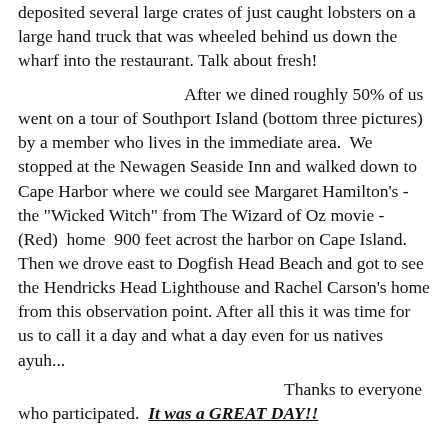deposited several large crates of just caught lobsters on a large hand truck that was wheeled behind us down the wharf into the restaurant. Talk about fresh!

                        After we dined roughly 50% of us went on a tour of Southport Island (bottom three pictures) by a member who lives in the immediate area.  We stopped at the Newagen Seaside Inn and walked down to Cape Harbor where we could see Margaret Hamilton's - the "Wicked Witch" from The Wizard of Oz movie - (Red)  home  900 feet acrost the harbor on Cape Island. Then we drove east to Dogfish Head Beach and got to see the Hendricks Head Lighthouse and Rachel Carson's home from this observation point. After all this it was time for  us to call it a day and what a day even for us natives ayuh...
                                    Thanks to everyone who participated.  It was a GREAT DAY!!